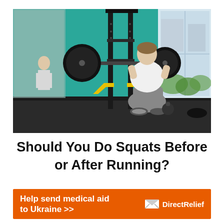[Figure (photo): A man performing a barbell back squat in a gym with teal-painted walls. He is wearing a white shirt and grey pants, holding a heavily loaded barbell on his shoulders in a deep squat position. A power rack is visible along with weight plates. A mirror on the left reflects another person. Yellow safety equipment and a kettlebell are visible on the floor.]
Should You Do Squats Before or After Running?
Help send medical aid to Ukraine >> | Direct Relief